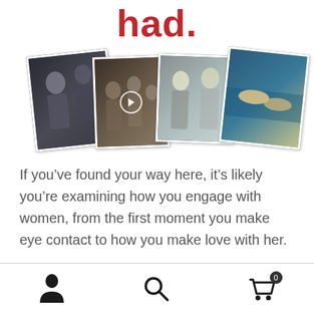had.
[Figure (photo): A horizontal strip of four overlapping polaroid-style photos showing people in various social/relationship situations: two people talking, a group meeting with a play button overlay, two women conversing, and hands touching.]
If you’ve found your way here, it’s likely you’re examining how you engage with women, from the first moment you make eye contact to how you make love with her.
Navigation bar with person icon, search icon, and cart icon with badge showing 0